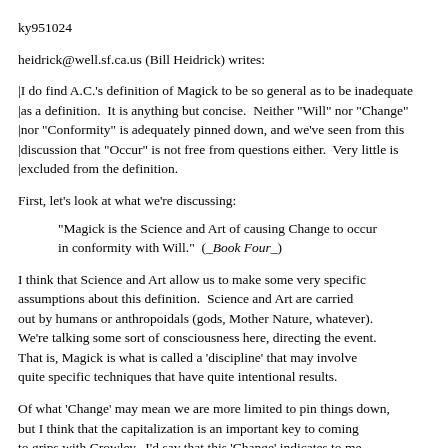ky951024
heidrick@well.sf.ca.us (Bill Heidrick) writes:
|I do find A.C.'s definition of Magick to be so general as to be inadequate |as a definition.  It is anything but concise.  Neither "Will" nor "Change" |nor "Conformity" is adequately pinned down, and we've seen from this |discussion that "Occur" is not free from questions either.  Very little is |excluded from the definition.
First, let's look at what we're discussing:
"Magick is the Science and Art of causing Change to occur in conformity with Will."  (_Book Four_)
I think that Science and Art allow us to make some very specific assumptions about this definition.  Science and Art are carried out by humans or anthropoidals (gods, Mother Nature, whatever). We're talking some sort of consciousness here, directing the event. That is, Magick is what is called a 'discipline' that may involve quite specific techniques that have quite intentional results.
Of what 'Change' may mean we are more limited to pin things down, but I think that the capitalization is an important key to coming to grips with Crowley.  I'd say that this 'Change' indicates to me that it is a structural, verifiable and lasting transformation. It is not superficial, illusory or (usually) transitory.  How this